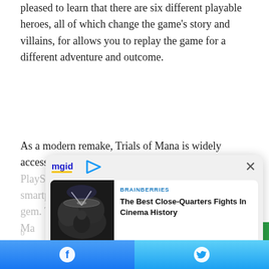pleased to learn that there are six different playable heroes, all of which change the game's story and villains, for allows you to replay the game for a different adventure and outcome.
As a modern remake, Trials of Mana is widely accessible on PlayStation, Nintendo Switch, Steam, and even smartphones, so there's no reason to pass up this gem. The Ma... pa... the...
[Figure (screenshot): MGID content recommendation widget overlay showing two ad cards: 1) BRAINBERRIES - 'The Best Close-Quarters Fights In Cinema History' with a drum/concert photo, 2) HERBEAUTY - 'She Is The Winner But Says Still Not Treated With Respect' with a group photo. Has close button (x) and MGID logo.]
[Figure (screenshot): Bottom share bar with Facebook and Twitter buttons]